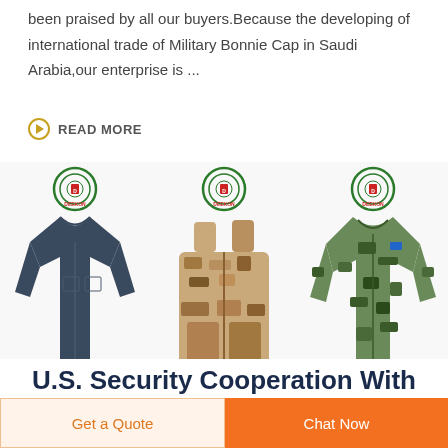been praised by all our buyers.Because the developing of international trade of Military Bonnie Cap in Saudi Arabia,our enterprise is ...
READ MORE
[Figure (photo): Three military/security product images side by side with DEEKON branding: a dark navy long-sleeve shirt, a tan/desert digital camouflage tactical vest/body armor, and a green woodland camouflage military jacket.]
U.S. Security Cooperation With
Get a Quote
Chat Now